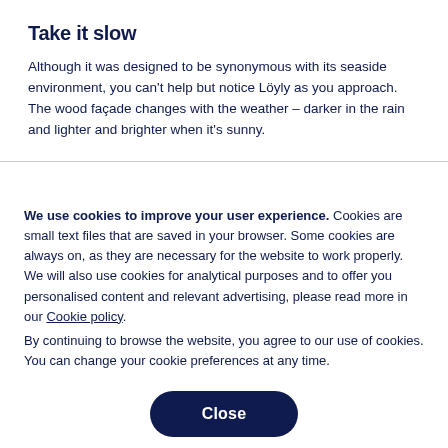Take it slow
Although it was designed to be synonymous with its seaside environment, you can't help but notice Löyly as you approach. The wood façade changes with the weather – darker in the rain and lighter and brighter when it's sunny.
We use cookies to improve your user experience. Cookies are small text files that are saved in your browser. Some cookies are always on, as they are necessary for the website to work properly. We will also use cookies for analytical purposes and to offer you personalised content and relevant advertising, please read more in our Cookie policy.
By continuing to browse the website, you agree to our use of cookies. You can change your cookie preferences at any time.
Close
Set your cookie preferences